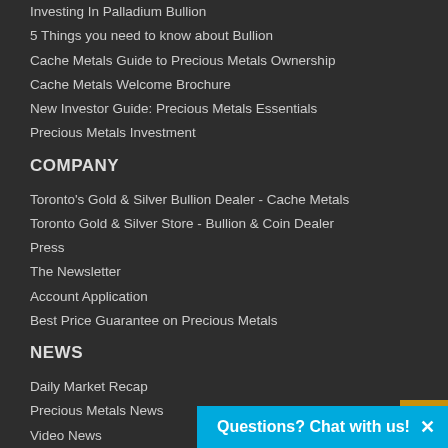Investing In Palladium Bullion
5 Things you need to know about Bullion
Cache Metals Guide to Precious Metals Ownership
Cache Metals Welcome Brochure
New Investor Guide: Precious Metals Essentials
Precious Metals Investment
COMPANY
Toronto's Gold & Silver Bullion Dealer - Cache Metals
Toronto Gold & Silver Store - Bullion & Coin Dealer
Press
The Newsletter
Account Application
Best Price Guarantee on Precious Metals
NEWS
Daily Market Recap
Precious Metals News
Video News
Gold Articles
Silver Articles
Press Releases
Resources
Blog
FAQ
Privacy Policy
Disclaimer